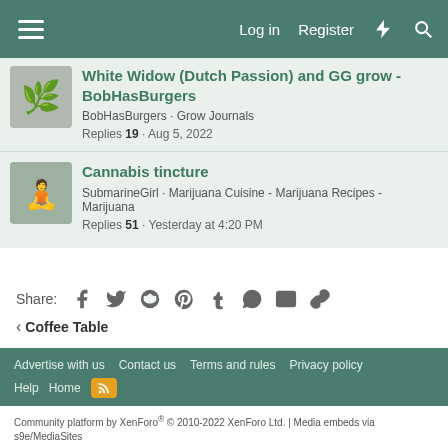Log in  Register
White Widow (Dutch Passion) and GG grow - BobHasBurgers | BobHasBurgers · Grow Journals | Replies 19 · Aug 5, 2022
Cannabis tincture | SubmarineGirl · Marijuana Cuisine - Marijuana Recipes - Marijuana | Replies 51 · Yesterday at 4:20 PM
Share:
< Coffee Table
Advertise with us  Contact us  Terms and rules  Privacy policy  Help  Home
Community platform by XenForo® © 2010-2022 XenForo Ltd. | Media embeds via s9e/MediaSites